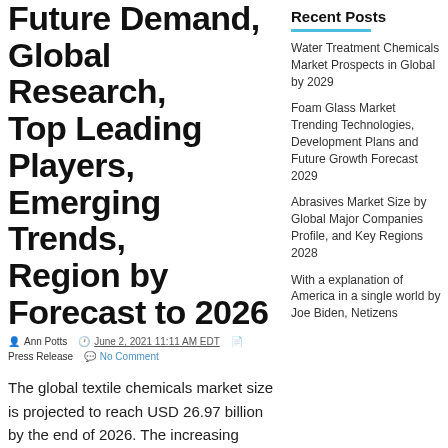Future Demand, Global Research, Top Leading Players, Emerging Trends, Region by Forecast to 2026
Ann Potts  ⏱ June 2, 2021 11:11 AM EDT  📄 Press Release  💬 No Comment
The global textile chemicals market size is projected to reach USD 26.97 billion by the end of 2026. The increasing applications of the product across diverse industry verticals will emerge in favor of the growth of the
Recent Posts
Water Treatment Chemicals Market Prospects in Global by 2029
Foam Glass Market Trending Technologies, Development Plans and Future Growth Forecast 2029
Abrasives Market Size by Global Major Companies Profile, and Key Regions 2028
With a explanation of America in a single world by Joe Biden, Netizens